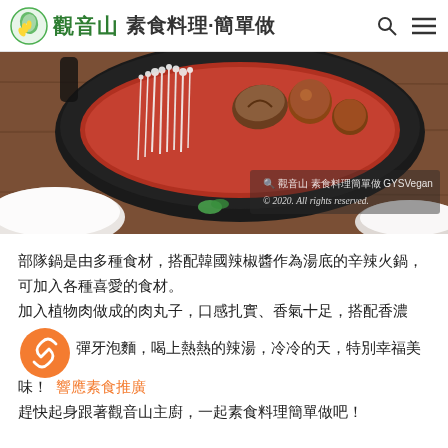觀音山 素食料理·簡單做
[Figure (photo): Close-up photo of a Korean army stew (budae jjigae) hotpot with mushrooms, enoki, and other ingredients in a dark pan on a wooden table, with a white dish in the foreground. Watermark reads: 觀音山 素食料理簡單做 GYSVegan © 2020. All rights reserved.]
部隊鍋是由多種食材，搭配韓國辣椒醬作為湯底的辛辣火鍋，可加入各種喜愛的食材。
加入植物肉做成的肉丸子，口感扎實、香氣十足，搭配香濃彈牙泡麵，喝上熱熱的辣湯，冷冷的天，特別幸福美味！ 響應素食推廣
趕快起身跟著觀音山主廚，一起素食料理簡單做吧！